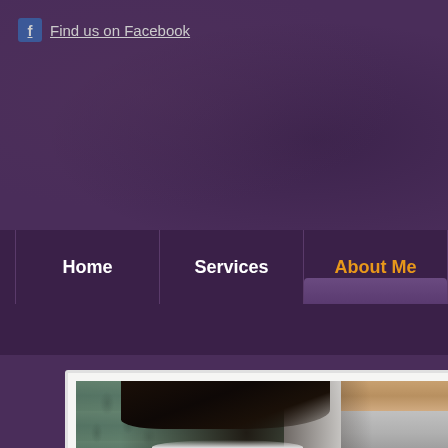Find us on Facebook
Home
Services
About Me
[Figure (photo): Photo of a woman with dreadlocks looking down, wearing a white top, in front of green patterned curtains with wooden furniture visible in the background]